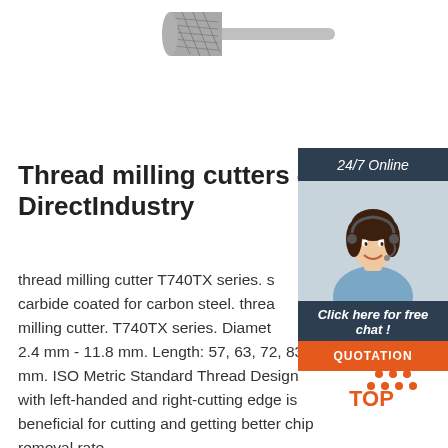[Figure (photo): Thread milling cutter tool - cylindrical carbide cutting bit with shank, shown from above]
Thread milling cutters - DirectIndustry
thread milling cutter T740TX series. S carbide coated for carbon steel. thread milling cutter. T740TX series. Diameter: 2.4 mm - 11.8 mm. Length: 57, 63, 72, 83 mm. ISO Metric Standard Thread Design with left-handed and right-cutting edge is beneficial for cutting and getting better chip removal rate.
[Figure (photo): 24/7 Online chat widget with woman wearing headset smiling, with Click here for free chat and QUOTATION button]
[Figure (logo): TOP logo with orange triangle/mountain icon and TOP text in orange]